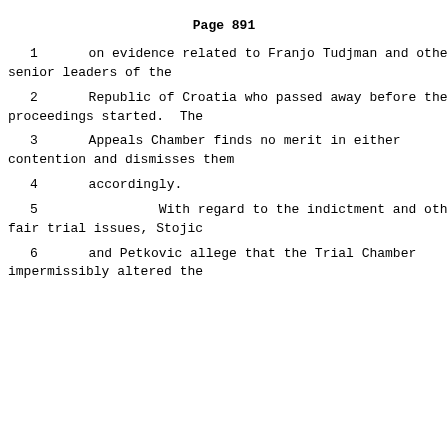Page 891
1      on evidence related to Franjo Tudjman and other senior leaders of the
2      Republic of Croatia who passed away before the proceedings started.  The
3      Appeals Chamber finds no merit in either contention and dismisses them
4      accordingly.
5               With regard to the indictment and other fair trial issues, Stojic
6      and Petkovic allege that the Trial Chamber impermissibly altered the